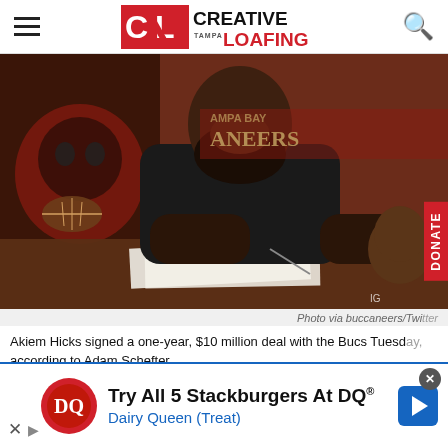Creative Loafing Tampa Bay
[Figure (photo): Akiem Hicks sitting at a desk in Tampa Bay Buccaneers facility, smiling, signing a contract with a young child seated next to him. Buccaneers logo visible in background.]
Photo via buccaneers/Twi...
Akiem Hicks signed a one-year, $10 million deal with the Bucs Tuesd... according to Adam Schefter.
[Figure (infographic): Dairy Queen advertisement: Try All 5 Stackburgers At DQ® Dairy Queen (Treat)]